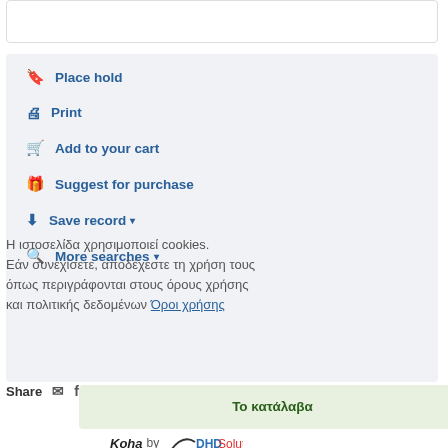[Figure (screenshot): Top portion of a white card/panel (partially visible at top of page)]
Place hold
Print
Add to your cart
Suggest for purchase
Save record
More searches
Η ιστοσελίδα χρησιμοποιεί cookies. Εάν συνεχίσετε, αποδέχεστε τη χρήση τους όπως περιγράφονται στους όρους χρήσης και πολιτικής δεδομένων Όροι χρήσης
Share
Το κατάλαβα
Koha by DHD Solutions